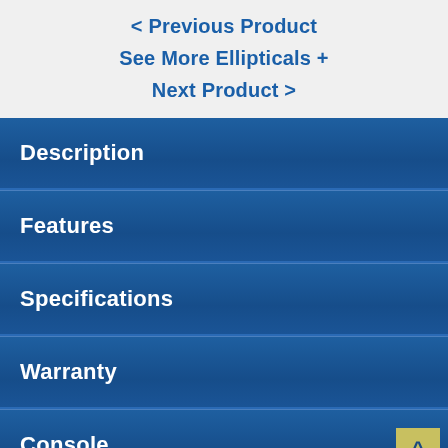< Previous Product
See More Ellipticals +
Next Product >
Description
Features
Specifications
Warranty
Console